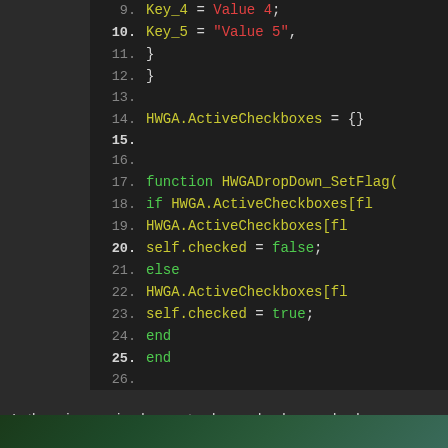[Figure (screenshot): Code editor screenshot showing JavaScript/Lua code with syntax highlighting on dark background. Lines 9-31 visible. Code defines HWGA.ActiveCheckboxes and functions HWGADropDown_SetFlag and HWGADropDown_Initialize.]
Is there is any simple way to change background col
In example, I want this: